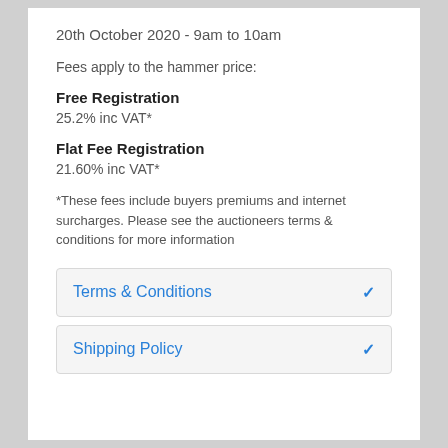20th October 2020 - 9am to 10am
Fees apply to the hammer price:
Free Registration
25.2% inc VAT*
Flat Fee Registration
21.60% inc VAT*
*These fees include buyers premiums and internet surcharges. Please see the auctioneers terms & conditions for more information
Terms & Conditions
Shipping Policy